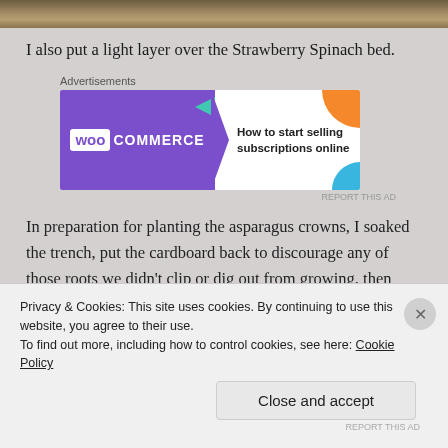[Figure (photo): Partial view of a garden or soil bed at the top of the page]
I also put a light layer over the Strawberry Spinach bed.
[Figure (screenshot): WooCommerce advertisement banner: 'How to start selling subscriptions online']
In preparation for planting the asparagus crowns, I soaked the trench, put the cardboard back to discourage any of those roots we didn't clip or dig out from growing, then soaked it again. Later today, we'll put the crowns to soak while we start adding soil and preparing it for
Privacy & Cookies: This site uses cookies. By continuing to use this website, you agree to their use.
To find out more, including how to control cookies, see here: Cookie Policy
Close and accept